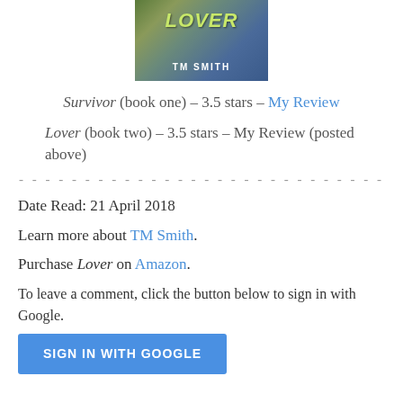[Figure (photo): Book cover for 'Lover' by TM Smith, showing colorful abstract background with title text and author name]
Survivor (book one) – 3.5 stars – My Review
Lover (book two) – 3.5 stars – My Review (posted above)
- - - - - - - - - - - - - - - - - - - - - - - - - - - -
Date Read: 21 April 2018
Learn more about TM Smith.
Purchase Lover on Amazon.
To leave a comment, click the button below to sign in with Google.
SIGN IN WITH GOOGLE